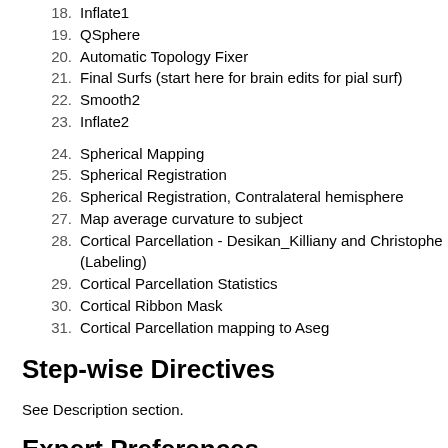18. Inflate1
19. QSphere
20. Automatic Topology Fixer
21. Final Surfs (start here for brain edits for pial surf)
22. Smooth2
23. Inflate2
24. Spherical Mapping
25. Spherical Registration
26. Spherical Registration, Contralateral hemisphere
27. Map average curvature to subject
28. Cortical Parcellation - Desikan_Killiany and Christophe (Labeling)
29. Cortical Parcellation Statistics
30. Cortical Ribbon Mask
31. Cortical Parcellation mapping to Aseg
Step-wise Directives
See Description section.
Expert Preferences